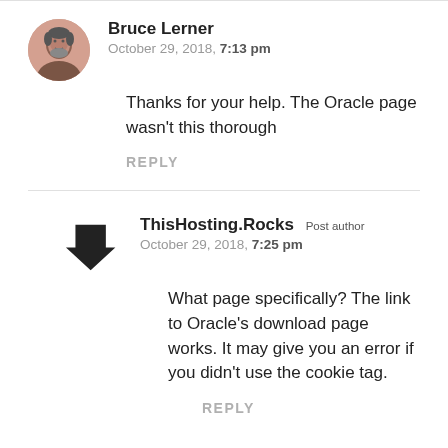Bruce Lerner
October 29, 2018, 7:13 pm
Thanks for your help. The Oracle page wasn't this thorough
REPLY
ThisHosting.Rocks Post author
October 29, 2018, 7:25 pm
What page specifically? The link to Oracle's download page works. It may give you an error if you didn't use the cookie tag.
REPLY